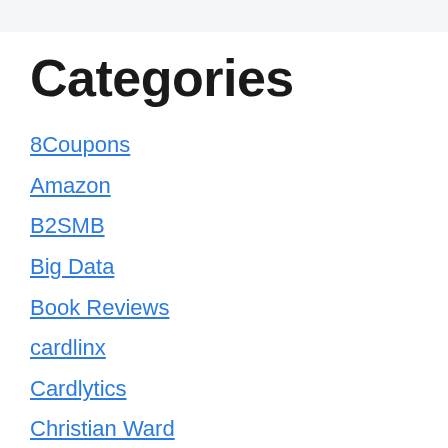Categories
8Coupons
Amazon
B2SMB
Big Data
Book Reviews
cardlinx
Cardlytics
Christian Ward
Classifieds
Community Nets/Blogs